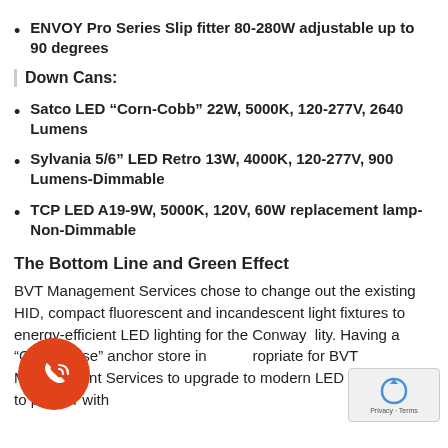ENVOY Pro Series Slip fitter 80-280W adjustable up to 90 degrees
Down Cans:
Satco LED “Corn-Cobb” 22W, 5000K, 120-277V, 2640 Lumens
Sylvania 5/6” LED Retro 13W, 4000K, 120-277V, 900 Lumens-Dimmable
TCP LED A19-9W, 5000K, 120V, 60W replacement lamp-Non-Dimmable
The Bottom Line and Green Effect
BVT Management Services chose to change out the existing HID, compact fluorescent and incandescent light fixtures to energy-efficient LED lighting for the Conway … lity. Having a “Green Wise” anchor store in … appropriate for BVT Management Services to upgrade to modern LED Lighting and to partner with…